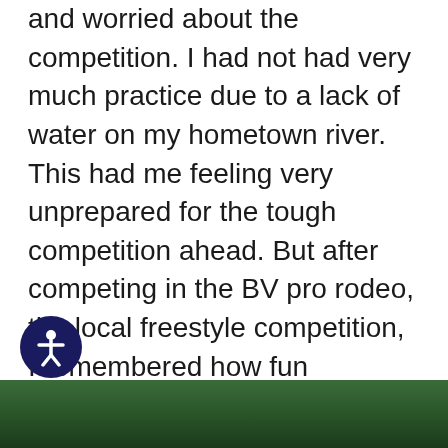and worried about the competition. I had not had very much practice due to a lack of water on my hometown river. This had me feeling very unprepared for the tough competition ahead. But after competing in the BV pro rodeo, the local freestyle competition, I remembered how fun kayaking is and that it's not just about winning or about how you do at all. Even though I took last in the first competition I oddly felt better about team trials. I think my losing actually took a lot of the pressure off of me. I went from a complete nervous Nancy to being super exited. I was suddenly pumped to just get out there on the water and do my best.
[Figure (photo): Partial photo visible at bottom of page, appears to show an outdoor/nature scene with green foliage]